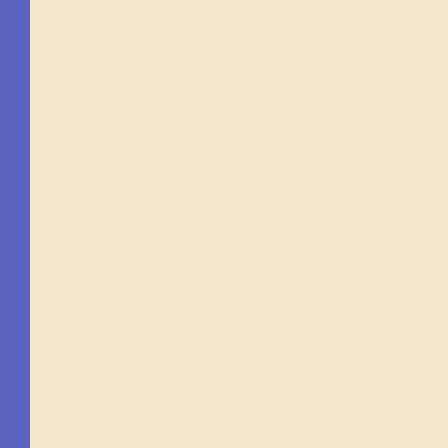[Figure (screenshot): E-commerce product listing page showing art canvases. Left portion shows a blue-bordered cream/beige leather-textured panel. Right portion shows product listings with thumbnail images and text descriptions and prices.]
Vtg 2 Blue La Paintings Wh Frames Sign Canvases $3...
Abstract Mod Oil Textural P Stretched 2 C x24" $169.00
Phoenix Artis Canvas 5X7" Board 100% $11.99
Stretched Ca Painting 5x7 oz Triple Prim $28.45